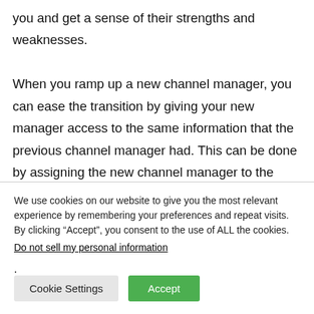you and get a sense of their strengths and weaknesses.
When you ramp up a new channel manager, you can ease the transition by giving your new manager access to the same information that the previous channel manager had. This can be done by assigning the new channel manager to the same group as their predecessor. The new manager will then be able to see
We use cookies on our website to give you the most relevant experience by remembering your preferences and repeat visits. By clicking “Accept”, you consent to the use of ALL the cookies.
Do not sell my personal information.
Cookie Settings  Accept